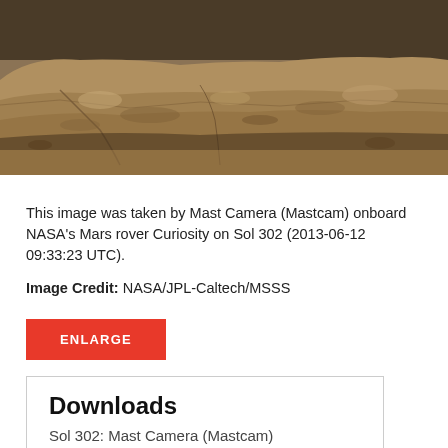[Figure (photo): Close-up photograph of a Martian rock surface taken by Mast Camera (Mastcam) aboard NASA's Mars rover Curiosity on Sol 302. The rocky terrain shows layered sedimentary rock with sandy/dusty texture in reddish-brown and tan hues.]
This image was taken by Mast Camera (Mastcam) onboard NASA's Mars rover Curiosity on Sol 302 (2013-06-12 09:33:23 UTC).
Image Credit: NASA/JPL-Caltech/MSSS
ENLARGE
Downloads
Sol 302: Mast Camera (Mastcam)